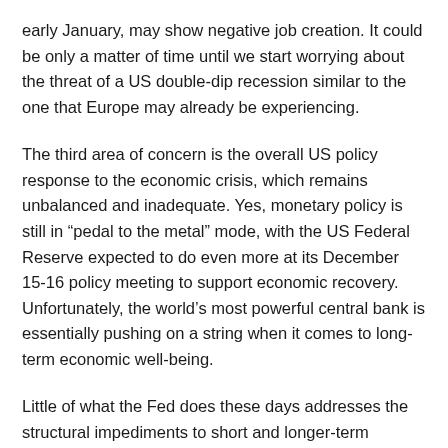early January, may show negative job creation. It could be only a matter of time until we start worrying about the threat of a US double-dip recession similar to the one that Europe may already be experiencing.
The third area of concern is the overall US policy response to the economic crisis, which remains unbalanced and inadequate. Yes, monetary policy is still in “pedal to the metal” mode, with the US Federal Reserve expected to do even more at its December 15-16 policy meeting to support economic recovery. Unfortunately, the world’s most powerful central bank is essentially pushing on a string when it comes to long-term economic well-being.
Little of what the Fed does these days addresses the structural impediments to short and longer-term inclusive and